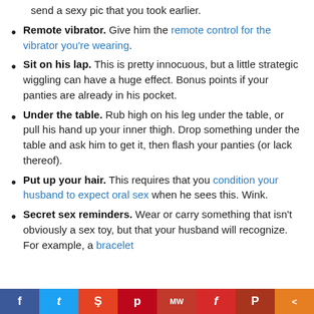send a sexy pic that you took earlier.
Remote vibrator. Give him the remote control for the vibrator you're wearing.
Sit on his lap. This is pretty innocuous, but a little strategic wiggling can have a huge effect. Bonus points if your panties are already in his pocket.
Under the table. Rub high on his leg under the table, or pull his hand up your inner thigh. Drop something under the table and ask him to get it, then flash your panties (or lack thereof).
Put up your hair. This requires that you condition your husband to expect oral sex when he sees this. Wink.
Secret sex reminders. Wear or carry something that isn't obviously a sex toy, but that your husband will recognize. For example, a bracelet
f  t  s  p  MW  f  P  <